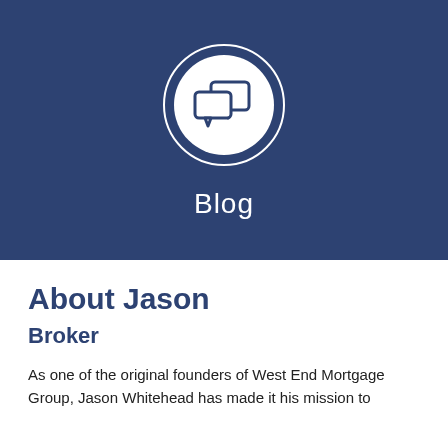[Figure (illustration): Dark navy blue hero banner with a white circle containing a speech bubbles / chat icon, and the word 'Blog' below in white text.]
About Jason
Broker
As one of the original founders of West End Mortgage Group, Jason Whitehead has made it his mission to